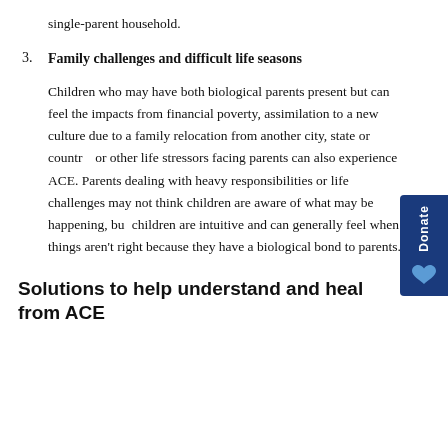single-parent household.
3. Family challenges and difficult life seasons
Children who may have both biological parents present but can feel the impacts from financial poverty, assimilation to a new culture due to a family relocation from another city, state or country, or other life stressors facing parents can also experience ACE. Parents dealing with heavy responsibilities or life challenges may not think children are aware of what may be happening, but children are intuitive and can generally feel when things aren't right because they have a biological bond to parents.
Solutions to help understand and heal from ACE